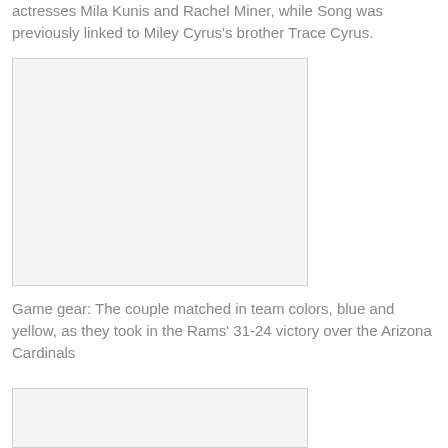actresses Mila Kunis and Rachel Miner, while Song was previously linked to Miley Cyrus's brother Trace Cyrus.
[Figure (photo): Blank/placeholder image area for a photo (upper image)]
Game gear: The couple matched in team colors, blue and yellow, as they took in the Rams' 31-24 victory over the Arizona Cardinals
[Figure (photo): Blank/placeholder image area for a photo (lower image)]